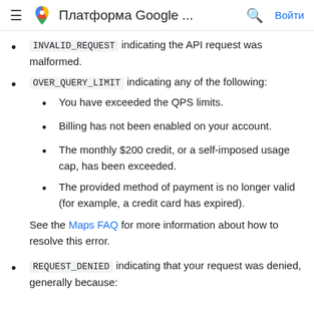Платформа Google ...
INVALID_REQUEST indicating the API request was malformed.
OVER_QUERY_LIMIT indicating any of the following:
You have exceeded the QPS limits.
Billing has not been enabled on your account.
The monthly $200 credit, or a self-imposed usage cap, has been exceeded.
The provided method of payment is no longer valid (for example, a credit card has expired).
See the Maps FAQ for more information about how to resolve this error.
REQUEST_DENIED indicating that your request was denied, generally because: